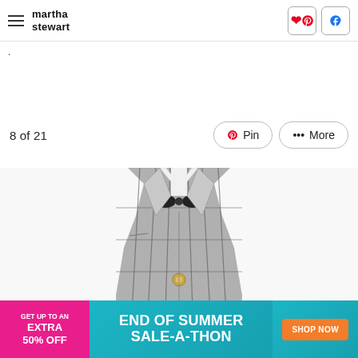martha stewart
.
8 of 21
[Figure (photo): A child's formal blazer/tuxedo jacket in grey plaid fabric with white shirt collar and black bow tie visible at the top, displayed flat against a white background.]
[Figure (infographic): Advertisement banner: Pink left section reads 'GET UP TO AN EXTRA 50% OFF', teal center reads 'END OF SUMMER SALE-A-THON', orange button reads 'SHOP NOW']